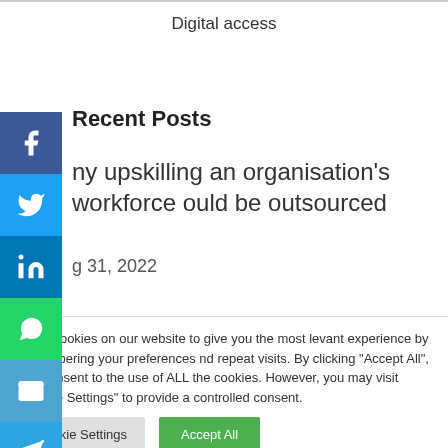Digital access
Recent Posts
ny upskilling an organisation's workforce ould be outsourced
g 31, 2022
e use cookies on our website to give you the most levant experience by remembering your preferences nd repeat visits. By clicking "Accept All", you consent to the use of ALL the cookies. However, you may visit "Cookie Settings" to provide a controlled consent.
Cookie Settings | Accept All